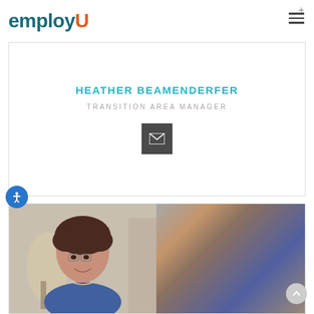employU
HEATHER BEAMENDERFER
TRANSITION AREA MANAGER
[Figure (illustration): Dark grey email/envelope icon button]
[Figure (photo): Professional headshot of Heather Beamenderfer, a woman with short dark hair and glasses, wearing a blue top, smiling]
[Figure (illustration): Accessibility icon button (blue circle with person figure)]
[Figure (illustration): Scroll to top button (grey circle with upward chevron)]